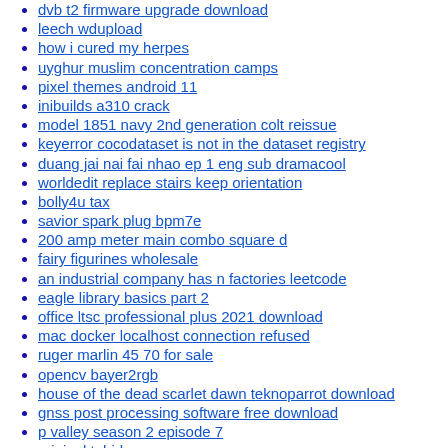dvb t2 firmware upgrade download
leech wdupload
how i cured my herpes
uyghur muslim concentration camps
pixel themes android 11
inibuilds a310 crack
model 1851 navy 2nd generation colt reissue
keyerror cocodataset is not in the dataset registry
duang jai nai fai nhao ep 1 eng sub dramacool
worldedit replace stairs keep orientation
bolly4u tax
savior spark plug bpm7e
200 amp meter main combo square d
fairy figurines wholesale
an industrial company has n factories leetcode
eagle library basics part 2
office ltsc professional plus 2021 download
mac docker localhost connection refused
ruger marlin 45 70 for sale
opencv bayer2rgb
house of the dead scarlet dawn teknoparrot download
gnss post processing software free download
p valley season 2 episode 7
original tubidy
no module named fused